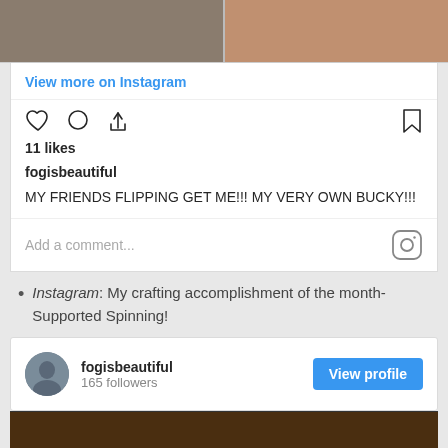[Figure (photo): Top photo strip showing two cropped photos side by side]
View more on Instagram
[Figure (infographic): Instagram action icons: heart, comment, share, and bookmark]
11 likes
fogisbeautiful
MY FRIENDS FLIPPING GET ME!!! MY VERY OWN BUCKY!!!
Add a comment...
Instagram: My crafting accomplishment of the month- Supported Spinning!
[Figure (infographic): Instagram profile card for fogisbeautiful with 165 followers and View profile button]
[Figure (photo): Bottom photo strip showing a dark brown surface]